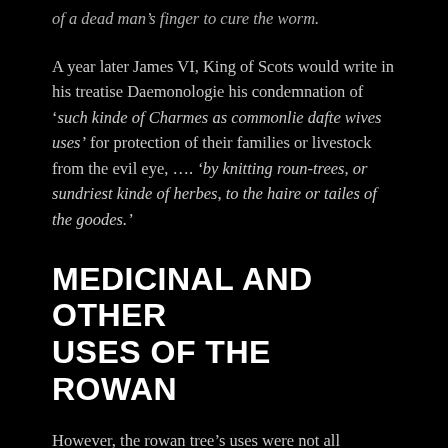of a dead man's finger to cure the worm.
A year later James VI, King of Scots would write in his treatise Daemonologie his condemnation of 'such kinde of Charmes as commonlie dafte wives uses' for protection of their families or livestock from the evil eye, .... 'by knitting roun-trees, or sundriest kinde of herbes, to the haire or tailes of the goodes.'
MEDICINAL AND OTHER USES OF THE ROWAN
However, the rowan tree's uses were not all supernatural. As a medicinal plant, a distillation of its bark was given to cleanse the blood and to alleviate stomach upsets. The berries were boiled in water until they turned into a pulp which was then strained